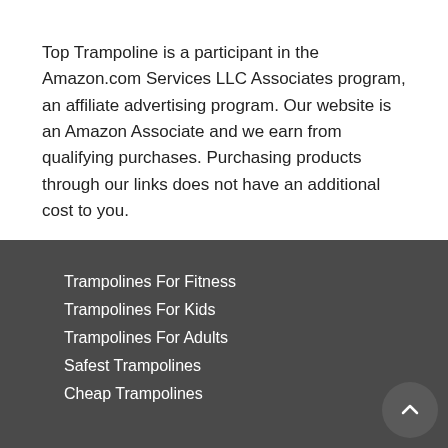Top Trampoline is a participant in the Amazon.com Services LLC Associates program, an affiliate advertising program. Our website is an Amazon Associate and we earn from qualifying purchases. Purchasing products through our links does not have an additional cost to you.
Trampolines For Fitness
Trampolines For Kids
Trampolines For Adults
Safest Trampolines
Cheap Trampolines